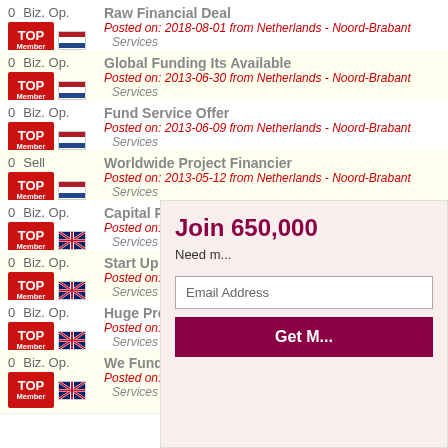0 Biz. Op. Raw Financial Deal Posted on: 2018-08-01 from Netherlands - Noord-Brabant Services
0 Biz. Op. Global Funding Its Available Posted on: 2013-06-30 from Netherlands - Noord-Brabant Services
0 Biz. Op. Fund Service Offer Posted on: 2013-06-09 from Netherlands - Noord-Brabant Services
0 Sell Worldwide Project Financier Posted on: 2013-05-12 from Netherlands - Noord-Brabant Services
0 Biz. Op. Capital Project F... Posted on: 2020-04-... Services
0 Biz. Op. Start Up Busine... Posted on: 2020-04-... Services
0 Biz. Op. Huge Project Fu... Posted on: 2020-04-... Services
0 Biz. Op. We Fund Projec... Posted on: 2019-06-... Services
Join 650,000...
Need m...
Email Address
Get M...